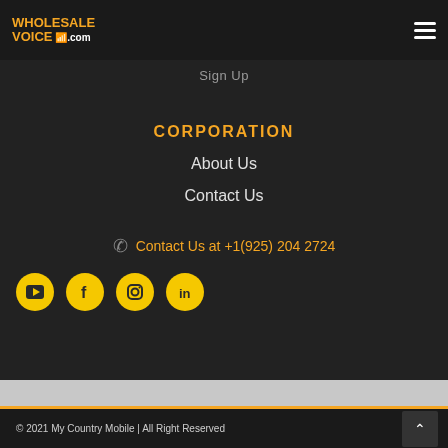WHOLESALE VOICE .com
Sign Up
CORPORATION
About Us
Contact Us
Contact Us at +1(925) 204 2724
[Figure (other): Social media icons: YouTube, Facebook, Instagram, LinkedIn]
© 2021 My Country Mobile | All Right Reserved